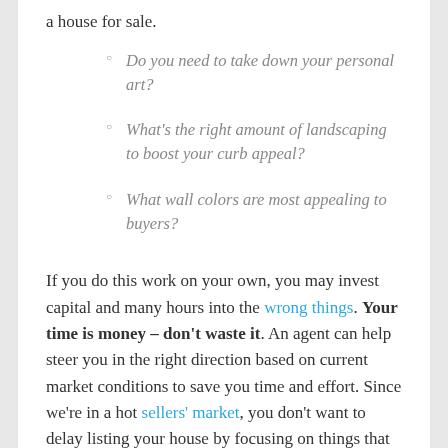a house for sale.
Do you need to take down your personal art?
What's the right amount of landscaping to boost your curb appeal?
What wall colors are most appealing to buyers?
If you do this work on your own, you may invest capital and many hours into the wrong things. Your time is money – don't waste it. An agent can help steer you in the right direction based on current market conditions to save you time and effort. Since we're in a hot sellers' market, you don't want to delay listing your house by focusing on things that won't change